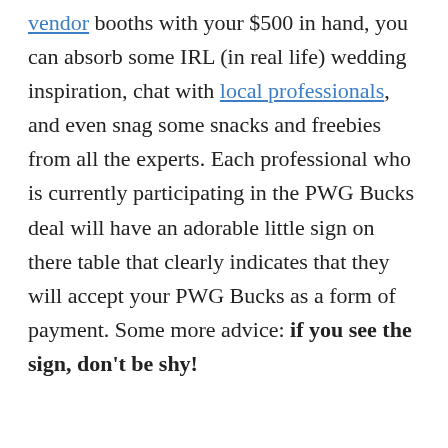vendor booths with your $500 in hand, you can absorb some IRL (in real life) wedding inspiration, chat with local professionals, and even snag some snacks and freebies from all the experts. Each professional who is currently participating in the PWG Bucks deal will have an adorable little sign on there table that clearly indicates that they will accept your PWG Bucks as a form of payment. Some more advice: if you see the sign, don't be shy!